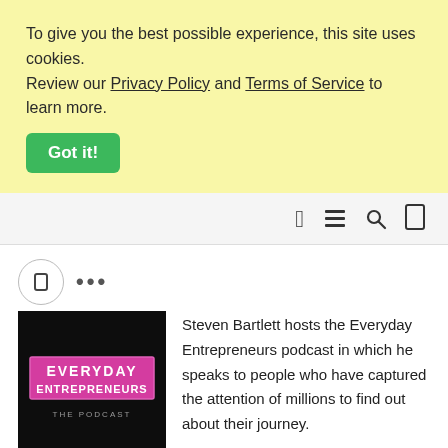To give you the best possible experience, this site uses cookies. Review our Privacy Policy and Terms of Service to learn more. Got it!
[Figure (screenshot): Navigation bar with search and menu icons]
[Figure (illustration): Podcast navigation icon row with circle icon and ellipsis]
[Figure (photo): Everyday Entrepreneurs The Podcast dark logo image]
Steven Bartlett hosts the Everyday Entrepreneurs podcast in which he speaks to people who have captured the attention of millions to find out about their journey.
Talk Twenties Podcast
28D  AGO